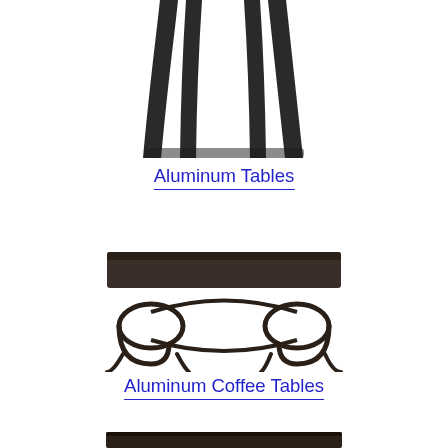[Figure (photo): Close-up photo of dark aluminum table legs, curved at bottom, shot from below]
Aluminum Tables
[Figure (photo): Photo of an aluminum coffee table with dark rectangular top and ornate scrolled base]
Aluminum Coffee Tables
[Figure (photo): Partial top view of another aluminum table, dark surface, cropped at bottom of page]